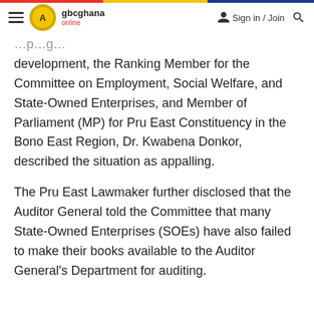gbcghana online — Sign in / Join
development, the Ranking Member for the Committee on Employment, Social Welfare, and State-Owned Enterprises, and Member of Parliament (MP) for Pru East Constituency in the Bono East Region, Dr. Kwabena Donkor, described the situation as appalling.
The Pru East Lawmaker further disclosed that the Auditor General told the Committee that many State-Owned Enterprises (SOEs) have also failed to make their books available to the Auditor General's Department for auditing.